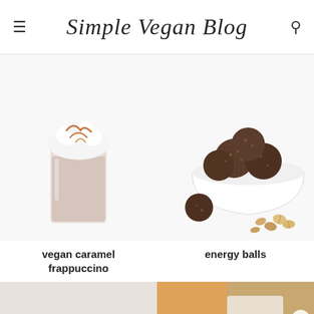Simple Vegan Blog
[Figure (photo): A glass of vegan caramel frappuccino topped with whipped cream and caramel drizzle on a white background]
vegan caramel frappuccino
[Figure (photo): A white bowl filled with chocolate energy balls, with hazelnuts scattered around on a white surface]
energy balls
[Figure (photo): Partially visible food photograph at the bottom of the page, left side, with muted tones]
[Figure (photo): Partially visible food photograph at the bottom right with orange and white tones, with a close button overlay]